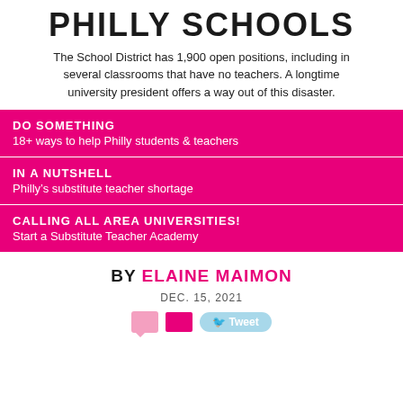PHILLY SCHOOLS
The School District has 1,900 open positions, including in several classrooms that have no teachers. A longtime university president offers a way out of this disaster.
DO SOMETHING
18+ ways to help Philly students & teachers
IN A NUTSHELL
Philly’s substitute teacher shortage
CALLING ALL AREA UNIVERSITIES!
Start a Substitute Teacher Academy
BY ELAINE MAIMON
DEC. 15, 2021